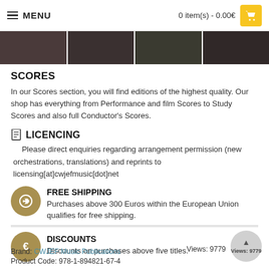MENU  0 item(s) - 0.00€
[Figure (photo): Strip of four dark music-related thumbnail images]
SCORES
In our Scores section, you will find editions of the highest quality. Our shop has everything from Performance and film Scores to Study Scores and also full Conductor's Scores.
LICENCING
Please direct enquiries regarding arrangement permission (new orchestrations, translations) and reprints to licensing[at]cwjefmusic[dot]net
FREE SHIPPING
Purchases above 300 Euros within the European Union qualifies for free shipping.
DISCOUNTS
Discounts on purchases above five titles.
Brand: CWJEF Music Publications   Views: 9779
Product Code: 978-1-894821-67-4